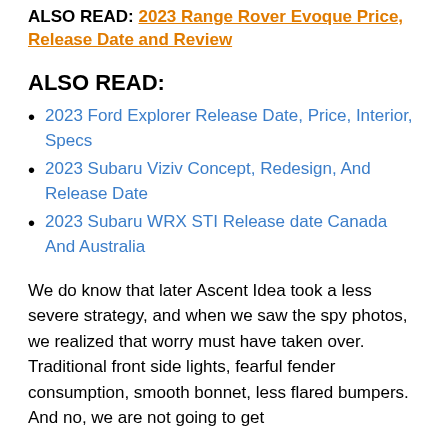ALSO READ: 2023 Range Rover Evoque Price, Release Date and Review
ALSO READ:
2023 Ford Explorer Release Date, Price, Interior, Specs
2023 Subaru Viziv Concept, Redesign, And Release Date
2023 Subaru WRX STI Release date Canada And Australia
We do know that later Ascent Idea took a less severe strategy, and when we saw the spy photos, we realized that worry must have taken over. Traditional front side lights, fearful fender consumption, smooth bonnet, less flared bumpers. And no, we are not going to get